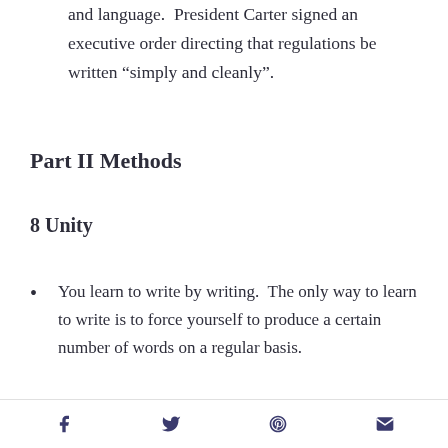and language.  President Carter signed an executive order directing that regulations be written “simply and cleanly”.
Part II Methods
8 Unity
You learn to write by writing.  The only way to learn to write is to force yourself to produce a certain number of words on a regular basis.
All writing is ultimately a question of
Facebook Twitter Pinterest Email